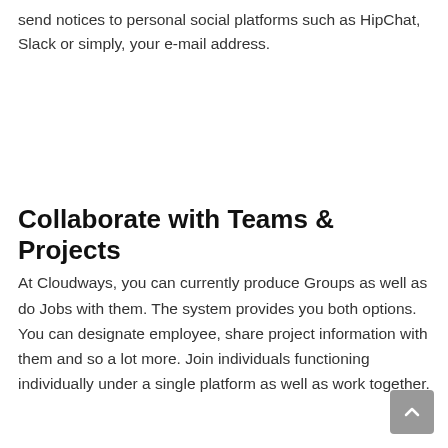send notices to personal social platforms such as HipChat, Slack or simply, your e-mail address.
Collaborate with Teams & Projects
At Cloudways, you can currently produce Groups as well as do Jobs with them. The system provides you both options. You can designate employee, share project information with them and so a lot more. Join individuals functioning individually under a single platform as well as work together.